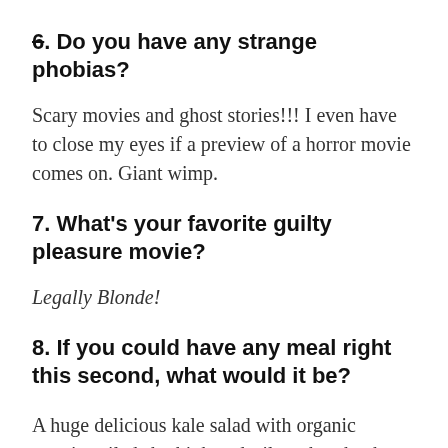6. Do you have any strange phobias?
Scary movies and ghost stories!!! I even have to close my eyes if a preview of a horror movie comes on. Giant wimp.
7. What's your favorite guilty pleasure movie?
Legally Blonde!
8. If you could have any meal right this second, what would it be?
A huge delicious kale salad with organic veggies piled sky high and trilogy kombucha — totally attainable, I realize.